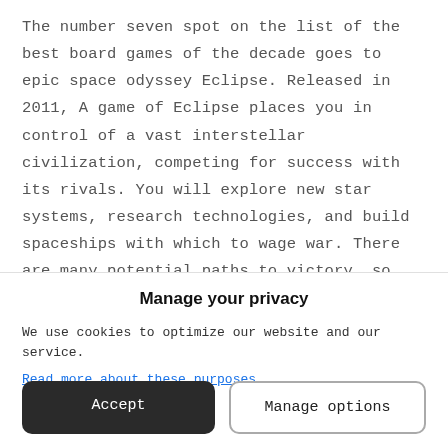The number seven spot on the list of the best board games of the decade goes to epic space odyssey Eclipse. Released in 2011, A game of Eclipse places you in control of a vast interstellar civilization, competing for success with its rivals. You will explore new star systems, research technologies, and build spaceships with which to wage war. There are many potential paths to victory, so you need to plan your strategy according to the strengths and
Manage your privacy
We use cookies to optimize our website and our service.
Read more about these purposes
Accept
Manage options